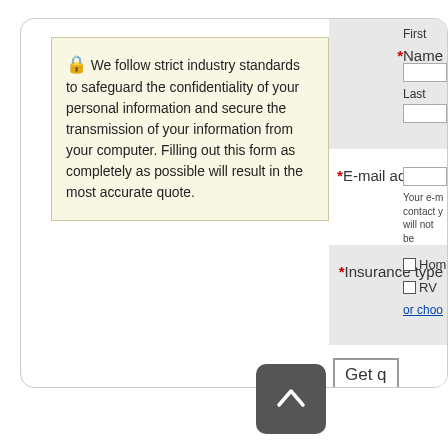🔒 We follow strict industry standards to safeguard the confidentiality of your personal information and secure the transmission of your information from your computer. Filling out this form as completely as possible will result in the most accurate quote.
*Name  First  Last
*E-mail address  Your e-mail address is used to contact you. Your information will not be...
*Insurance type  □Home  □RV  or choo...
Get q...